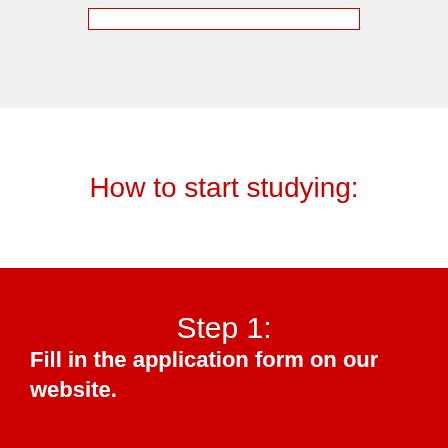How to start studying:
Step 1:
Fill in the application form on our website.